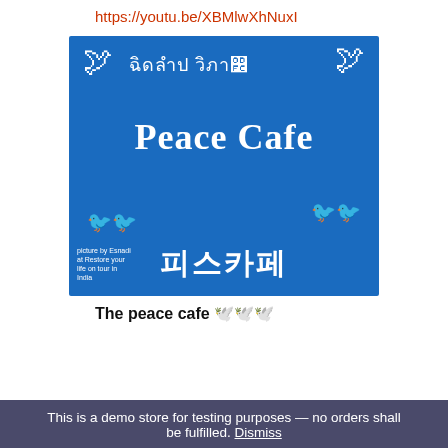https://youtu.be/XBMlwXhNuxI
[Figure (photo): Blue sign for Peace Cafe with Tibetan script, Korean text (피스카페), white doves, and green birds painted on a blue background. Small text reads 'picture by Esnadi at Restore your life on tour in India'.]
The peace cafe 🕊️🕊️🕊️
This is a demo store for testing purposes — no orders shall be fulfilled. Dismiss